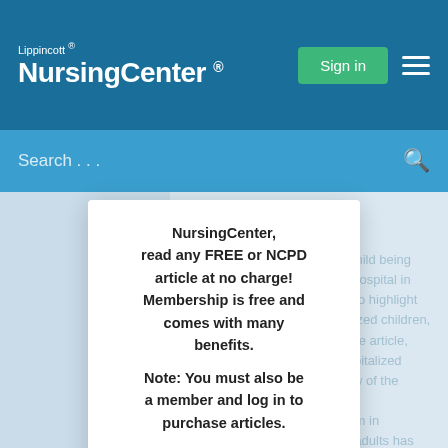Lippincott® NursingCenter®
Search...
Article Content
AJN's April cover photo of a child being cared for in the ICU at Fann Hospital in Dakar, Senegal, was chosen to highlight the risk of delirium in hospitalized children, a topic discussed in our feature article, "Recognizing Delirium in Hospitalized Children: A Systematic Review of the Evidence on Risk Factors and Characteristics." While delirium in hospitalized adults and older adults has been well documented, little is known about this phenomena in children. This systematic review by Holly and colleagues revealed several...
NursingCenter, read any FREE or NCPD article at no charge! Membership is free and comes with many benefits.
Note: You must also be a member and log in to purchase articles.
Register
Already a member?
Sign in